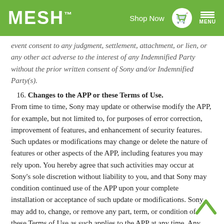MESH™  Shop Now  MENU
event consent to any judgment, settlement, attachment, or lien, or any other act adverse to the interest of any Indemnified Party without the prior written consent of Sony and/or Indemnified Party(s).
16. Changes to the APP or these Terms of Use.
From time to time, Sony may update or otherwise modify the APP, for example, but not limited to, for purposes of error correction, improvement of features, and enhancement of security features. Such updates or modifications may change or delete the nature of features or other aspects of the APP, including features you may rely upon. You hereby agree that such activities may occur at Sony's sole discretion without liability to you, and that Sony may condition continued use of the APP upon your complete installation or acceptance of such update or modifications. Sony may add to, change, or remove any part, term, or condition of these Terms of Use as such applies to the APP at any time. Any such